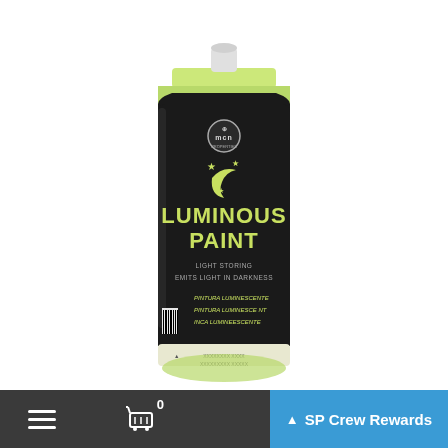[Figure (photo): MTN spray can of Luminous Paint (glow in the dark / light storing paint) with a black label, yellow-green text reading 'LUMINOUS PAINT', moon and stars logo, and a light green cap/dome top. Text on label includes 'LIGHT STORING', 'EMITS LIGHT IN DARKNESS', 'PINTURA LUMINESCENTE', 'PINTURA LUMINESCE NT', 'MICA LUMINEESCENTE'. MCN brand logo at top of label. Barcode on side.]
≡   🛒 0   SP Crew Rewards